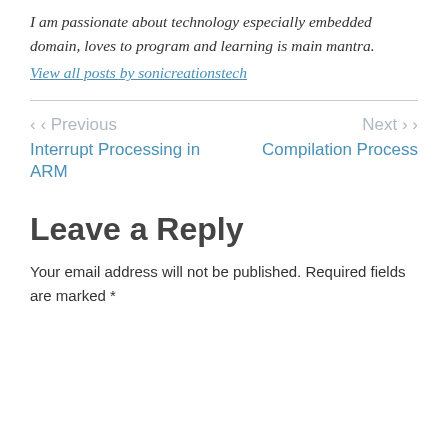I am passionate about technology especially embedded domain, loves to program and learning is main mantra.
View all posts by sonicreationstech
< Previous
Interrupt Processing in ARM
Next >
Compilation Process
Leave a Reply
Your email address will not be published. Required fields are marked *